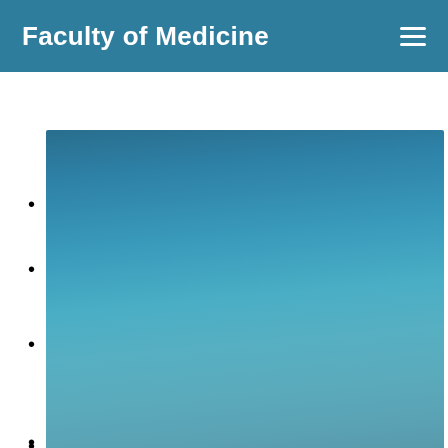Faculty of Medicine
[Figure (illustration): Teal/blue gradient background box with bullet point markers visible on the left side, partially cropped. Contains a list of items with bullet points on a teal gradient background.]